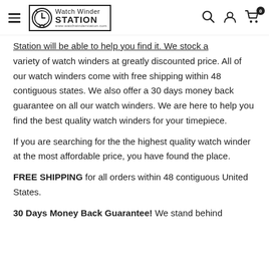WatchWinder STATION www.watchwinderstation.com
Station will be able to help you find it. We stock a variety of watch winders at greatly discounted price. All of our watch winders come with free shipping within 48 contiguous states. We also offer a 30 days money back guarantee on all our watch winders. We are here to help you find the best quality watch winders for your timepiece.
If you are searching for the the highest quality watch winder at the most affordable price, you have found the place.
FREE SHIPPING for all orders within 48 contiguous United States.
30 Days Money Back Guarantee! We stand behind